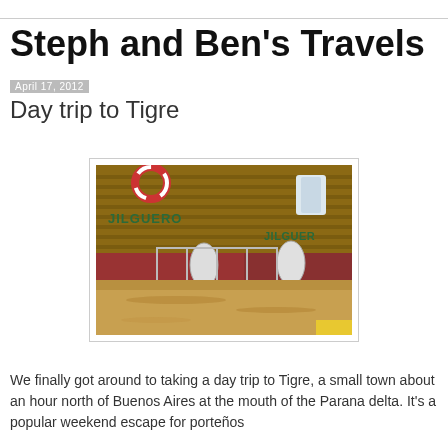Steph and Ben's Travels
April 17, 2012
Day trip to Tigre
[Figure (photo): Close-up photograph of wooden boats named JILGUERO on murky brown water, showing their red hulls, white fenders, and dock details at Tigre.]
We finally got around to taking a day trip to Tigre, a small town about an hour north of Buenos Aires at the mouth of the Parana delta. It's a popular weekend escape for porteños